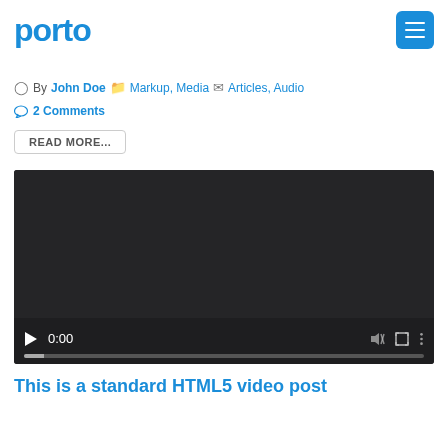porto
By John Doe   Markup, Media   Articles, Audio
2 Comments
READ MORE...
[Figure (screenshot): Video player with dark background, play button, time display 0:00, mute icon, fullscreen icon, and more options icon. Progress bar at bottom.]
This is a standard HTML5 video post